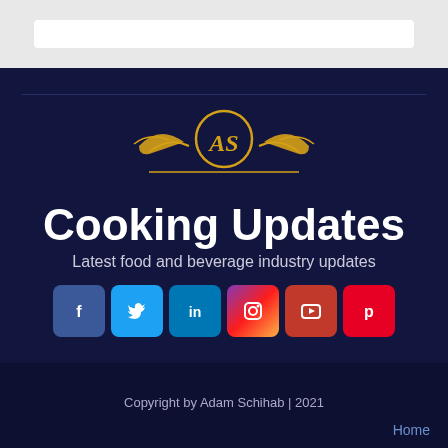[Figure (logo): Golden ornamental logo with 'AS' monogram in a circle with decorative flourishes, above a horizontal line]
Cooking Updates
Latest food and beverage industry updates
[Figure (infographic): Row of six social media icon buttons: Facebook (blue), Twitter (light blue), LinkedIn (dark blue), Instagram (gradient), YouTube (red), Pinterest (red)]
Copyright by Adam Schihab | 2021
Home